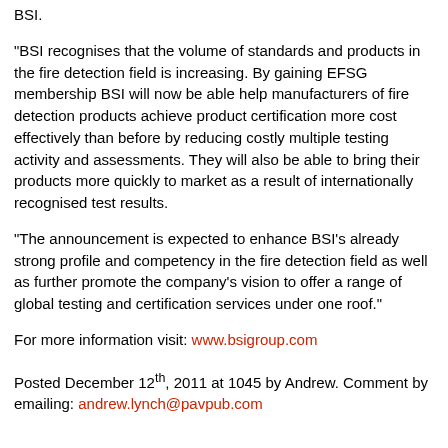BSI.
"BSI recognises that the volume of standards and products in the fire detection field is increasing. By gaining EFSG membership BSI will now be able help manufacturers of fire detection products achieve product certification more cost effectively than before by reducing costly multiple testing activity and assessments. They will also be able to bring their products more quickly to market as a result of internationally recognised test results.
"The announcement is expected to enhance BSI's already strong profile and competency in the fire detection field as well as further promote the company's vision to offer a range of global testing and certification services under one roof."
For more information visit: www.bsigroup.com
Posted December 12th, 2011 at 1045 by Andrew. Comment by emailing: andrew.lynch@pavpub.com